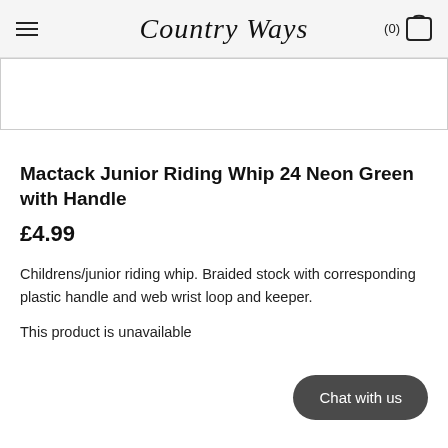Country Ways
[Figure (other): Product image placeholder area (empty white box with border)]
Mactack Junior Riding Whip 24 Neon Green with Handle
£4.99
Childrens/junior riding whip. Braided stock with corresponding plastic handle and web wrist loop and keeper.
This product is unavailable